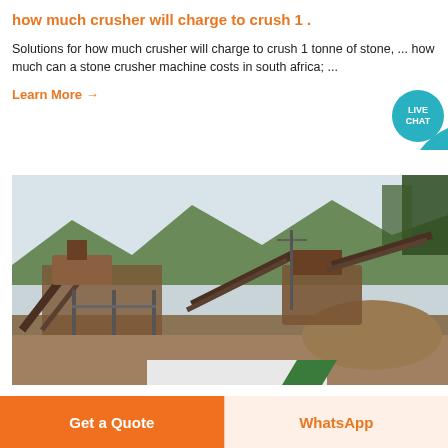how much crusher will charge to crush 1 .
Solutions for how much crusher will charge to crush 1 tonne of stone, ... how much can a stone crusher machine costs in south africa; ...
Learn More →
[Figure (photo): Industrial stone crusher plant with conveyor belts and machinery, mountains and trees visible in background.]
Get a Quote
WhatsApp